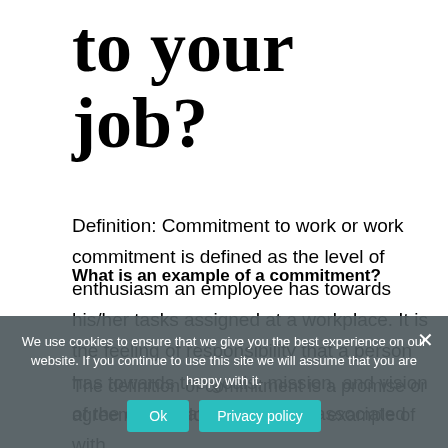to your job?
Definition: Commitment to work or work commitment is defined as the level of enthusiasm an employee has towards his/her tasks assigned at a workplace. It is the feeling of responsibility that a person has towards the goals, mission, and vision of the organization he/she is associated with.
What is an example of a commitment?
The definition of commitment is a promise or agreement to do something. An example of
We use cookies to ensure that we give you the best experience on our website. If you continue to use this site we will assume that you are happy with it.